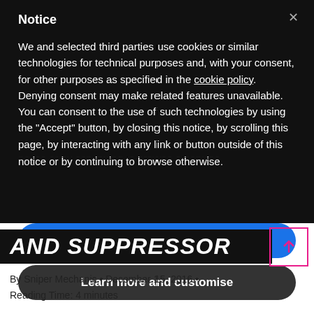Notice
We and selected third parties use cookies or similar technologies for technical purposes and, with your consent, for other purposes as specified in the cookie policy. Denying consent may make related features unavailable. You can consent to the use of such technologies by using the "Accept" button, by closing this notice, by scrolling this page, by interacting with any link or button outside of this notice or by continuing to browse otherwise.
Accept
Learn more and customise
AND SUPPRESSOR
By Sniper Mechanic • December 15, 2016 •
Reading Time: 4 minutes